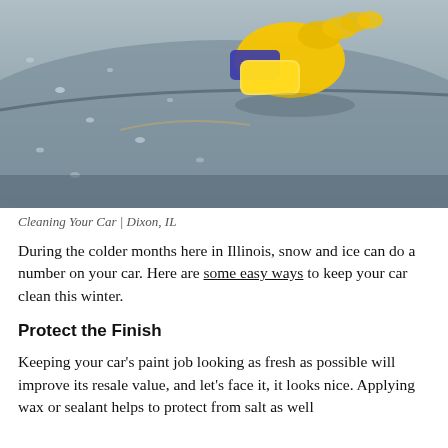[Figure (photo): A hand wearing a yellow rubber glove holding a yellow sponge, waxing/cleaning the wet surface of a blue/grey car door with water droplets visible.]
Cleaning Your Car | Dixon, IL
During the colder months here in Illinois, snow and ice can do a number on your car. Here are some easy ways to keep your car clean this winter.
Protect the Finish
Keeping your car's paint job looking as fresh as possible will improve its resale value, and let's face it, it looks nice. Applying wax or sealant helps to protect from salt as well as other contaminants from your car's surface.